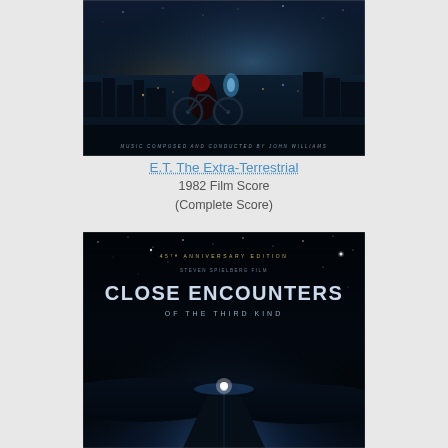[Figure (illustration): Album cover for E.T. The Extra-Terrestrial 1982 film score. Dark blue nighttime scene showing a silhouetted figure with a bicycle against a suburban cityscape backdrop with glowing lights. Text at bottom reads 'MUSIC COMPOSED AND CONDUCTED BY JOHN WILLIAMS'.]
E.T. The Extra-Terrestrial
1982 Film Score
(Complete Score)
[Figure (illustration): Album cover for Close Encounters of the Third Kind 45th Anniversary Edition. Dark space/night sky scene with stars, featuring large bold text 'CLOSE ENCOUNTERS OF THE THIRD KIND'. A Steven Spielberg film. Road with bright light at horizon in lower portion.]